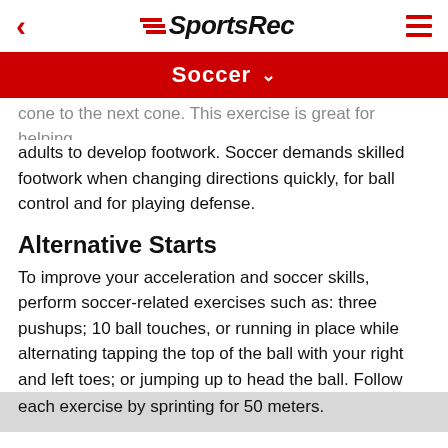< SportsRec ≡
Soccer ∨
cone to the next cone. This exercise is great for helping adults to develop footwork. Soccer demands skilled footwork when changing directions quickly, for ball control and for playing defense.
Alternative Starts
To improve your acceleration and soccer skills, perform soccer-related exercises such as: three pushups; 10 ball touches, or running in place while alternating tapping the top of the ball with your right and left toes; or jumping up to head the ball. Follow each exercise by sprinting for 50 meters.